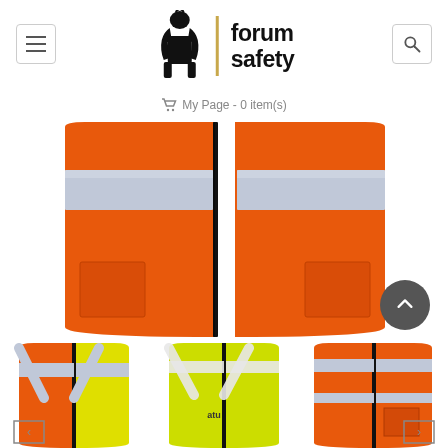[Figure (logo): Forum Safety logo with knight figure and text 'forum safety' with gold vertical bar separator]
My Page - 0 item(s)
[Figure (photo): Close-up of an orange high-visibility safety vest with reflective silver stripe and black zipper, showing the body panel]
[Figure (photo): Thumbnail of reversible orange/yellow high-visibility safety vest with reflective stripes]
[Figure (photo): Thumbnail of yellow/lime high-visibility safety vest with reflective stripes and logo]
[Figure (photo): Thumbnail of orange high-visibility safety vest with reflective stripes]